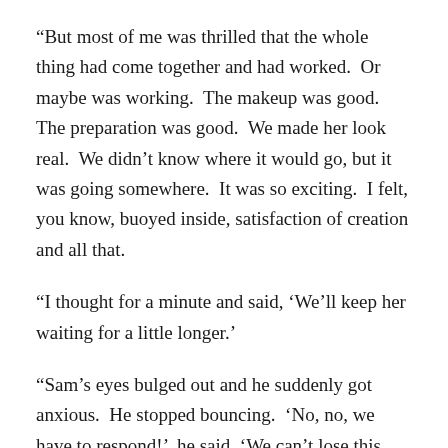“But most of me was thrilled that the whole thing had come together and had worked.  Or maybe was working.  The makeup was good.  The preparation was good.  We made her look real.  We didn’t know where it would go, but it was going somewhere.  It was so exciting.  I felt, you know, buoyed inside, satisfaction of creation and all that.
“I thought for a minute and said, ‘We’ll keep her waiting for a little longer.’
“Sam’s eyes bulged out and he suddenly got anxious.  He stopped bouncing.  ‘No, no, we have to respond!’  he said. ‘We can’t lose this chance!’”  Katy’s soft voice rose a little as she mimicked Sam’s urgency.